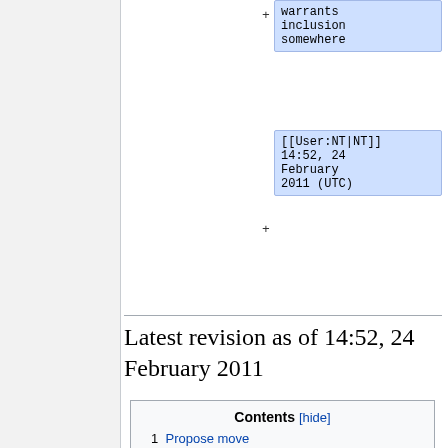warrants inclusion somewhere
[[User:NT|NT]] 14:52, 24 February 2011 (UTC)
Latest revision as of 14:52, 24 February 2011
| Contents [hide] |
| --- |
| 1 Propose move |
| 2 Not to mention the tautology :-) |
| 3 Eveready |
| 4 Lighting savings ineffectual |
| 5 First CFL |
Propose move